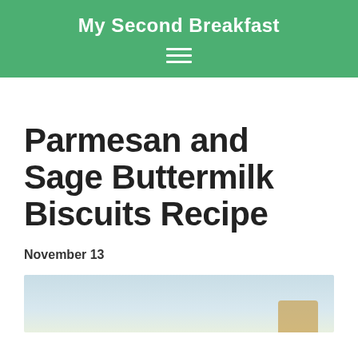My Second Breakfast
Parmesan and Sage Buttermilk Biscuits Recipe
November 13
[Figure (photo): Photo of parmesan and sage buttermilk biscuits, light blue/grey background with baked goods visible at bottom right]